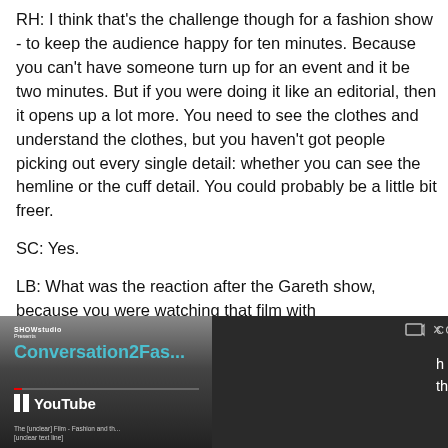RH: I think that's the challenge though for a fashion show - to keep the audience happy for ten minutes. Because you can't have someone turn up for an event and it be two minutes. But if you were doing it like an editorial, then it opens up a lot more. You need to see the clothes and understand the clothes, but you haven't got people picking out every single detail: whether you can see the hemline or the cuff detail. You could probably be a little bit freer.
SC: Yes.
LB: What was the reaction after the Gareth show, because you were watching that film with
[Figure (screenshot): YouTube video player overlay showing SHOWstudio Conversation:Fas... video, with pause button, progress bar, YouTube logo on left panel; right panel shows CONVERSATION: FAST... title with mini-player controls and partial transcript text 'h was just really excited. I think the fact that it was a fashion']